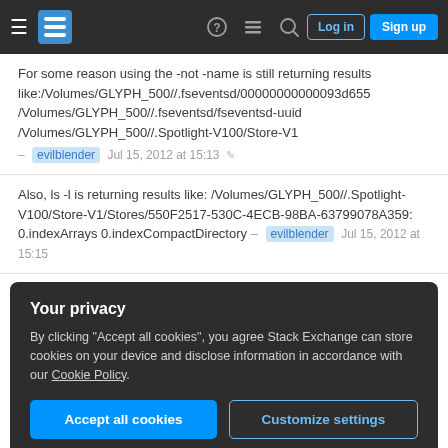Stack Exchange navigation bar with hamburger menu, logo, help, chat, search icons, Log in and Sign up buttons
For some reason using the -not -name is still returning results like:/Volumes/GLYPH_500//.fseventsd/00000000000093d655 /Volumes/GLYPH_500//.fseventsd/fseventsd-uuid /Volumes/GLYPH_500//.Spotlight-V100/Store-V1
– evilblender Jul 15, 2012 at 15:13
Also, ls -l is returning results like: /Volumes/GLYPH_500//.Spotlight-V100/Store-V1/Stores/550F2517-530C-4ECB-98BA-63799078A359: 0.indexArrays 0.indexCompactDirectory – evilblender Jul 15, 2012 at 15:15
Your privacy
By clicking "Accept all cookies", you agree Stack Exchange can store cookies on your device and disclose information in accordance with our Cookie Policy.
Accept all cookies
Customize settings
Thanks very much for your help! – evilblender Jul 15,